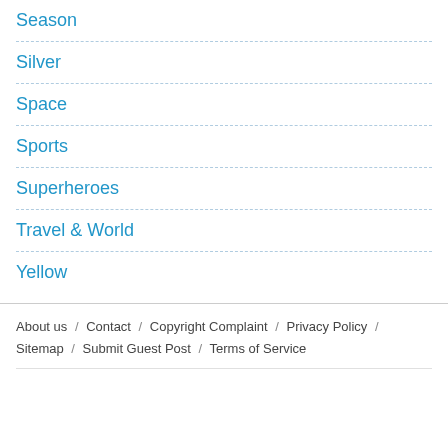Season
Silver
Space
Sports
Superheroes
Travel & World
Yellow
About us / Contact / Copyright Complaint / Privacy Policy / Sitemap / Submit Guest Post / Terms of Service